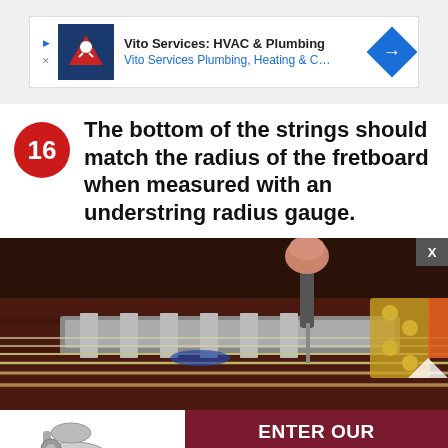[Figure (screenshot): Ad banner for Vito Services: HVAC & Plumbing with logo and navigation arrow]
16 The bottom of the strings should match the radius of the fretboard when measured with an understring radius gauge.
[Figure (photo): Close-up photo of a guitar bridge with strings and a tool being used for adjustment]
[Figure (screenshot): Bottom advertisement banner with guitar capo image and 'ENTER OUR GIVEAWAY!' button]